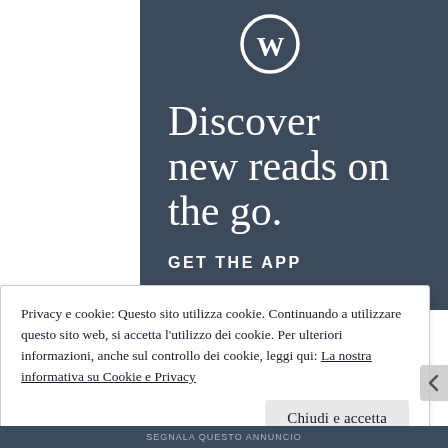[Figure (screenshot): WordPress app promotional banner with dark blue-gray background showing WordPress logo (W in circle), large serif text 'Discover new reads on the go.' and bold caps text 'GET THE APP', with bottom edge of a phone mockup visible]
Privacy e cookie: Questo sito utilizza cookie. Continuando a utilizzare questo sito web, si accetta l'utilizzo dei cookie. Per ulteriori informazioni, anche sul controllo dei cookie, leggi qui: La nostra informativa su Cookie e Privacy
Chiudi e accetta